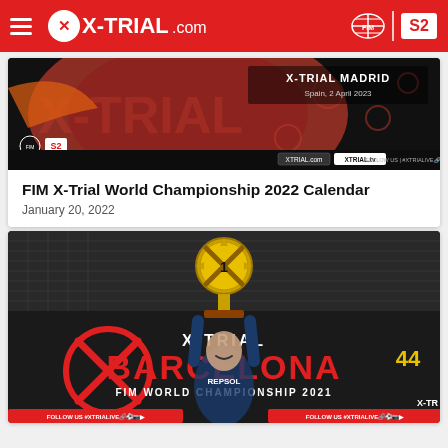X-TRIAL.COM
[Figure (screenshot): X-Trial Madrid promotional banner with red and black globe graphic, showing event name X-TRIAL MADRID, Spain, 2 April 2023]
FIM X-Trial World Championship 2022 Calendar
January 20, 2022
[Figure (photo): Rider holding a large golden X-Trial trophy above their head at X-Trial Barcelona FIM World Championship 2021 event. Banner shows FOLLOW US #XTRIALLIVЕ and number 44 visible.]